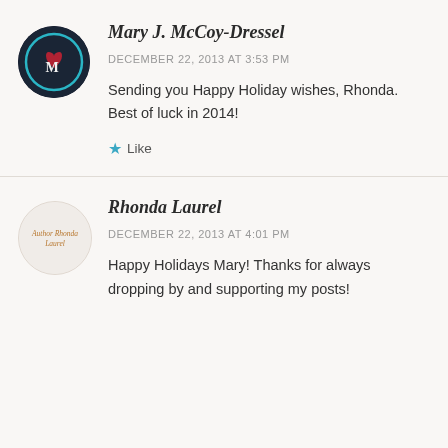[Figure (logo): Circular avatar for Mary J. McCoy-Dressel with dark background and stylized figure/letter M]
Mary J. McCoy-Dressel
DECEMBER 22, 2013 AT 3:53 PM
Sending you Happy Holiday wishes, Rhonda. Best of luck in 2014!
★ Like
[Figure (logo): Circular avatar for Rhonda Laurel with cursive 'Author Rhonda Laurel' text in orange/amber on light background]
Rhonda Laurel
DECEMBER 22, 2013 AT 4:01 PM
Happy Holidays Mary! Thanks for always dropping by and supporting my posts!